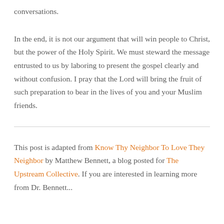conversations.
In the end, it is not our argument that will win people to Christ, but the power of the Holy Spirit. We must steward the message entrusted to us by laboring to present the gospel clearly and without confusion. I pray that the Lord will bring the fruit of such preparation to bear in the lives of you and your Muslim friends.
This post is adapted from Know Thy Neighbor To Love They Neighbor by Matthew Bennett, a blog posted for The Upstream Collective. If you are interested in learning more from Dr. Bennett...